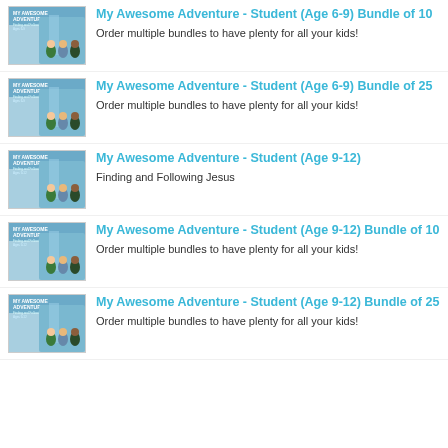My Awesome Adventure - Student (Age 6-9) Bundle of 10
Order multiple bundles to have plenty for all your kids!
My Awesome Adventure - Student (Age 6-9) Bundle of 25
Order multiple bundles to have plenty for all your kids!
My Awesome Adventure - Student (Age 9-12)
Finding and Following Jesus
My Awesome Adventure - Student (Age 9-12) Bundle of 10
Order multiple bundles to have plenty for all your kids!
My Awesome Adventure - Student (Age 9-12) Bundle of 25
Order multiple bundles to have plenty for all your kids!